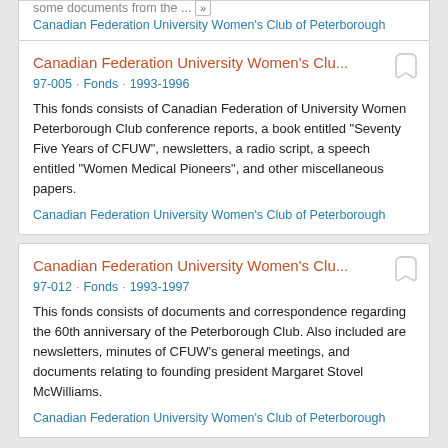some documents from the ... »
Canadian Federation University Women's Club of Peterborough
Canadian Federation University Women's Clu...
97-005 · Fonds · 1993-1996
This fonds consists of Canadian Federation of University Women Peterborough Club conference reports, a book entitled "Seventy Five Years of CFUW", newsletters, a radio script, a speech entitled "Women Medical Pioneers", and other miscellaneous papers.
Canadian Federation University Women's Club of Peterborough
Canadian Federation University Women's Clu...
97-012 · Fonds · 1993-1997
This fonds consists of documents and correspondence regarding the 60th anniversary of the Peterborough Club. Also included are newsletters, minutes of CFUW's general meetings, and documents relating to founding president Margaret Stovel McWilliams.
Canadian Federation University Women's Club of Peterborough